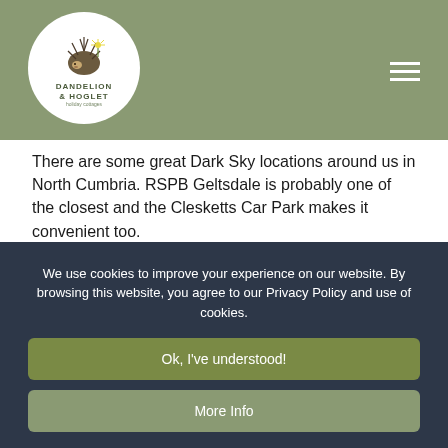[Figure (logo): Dandelion & Hoglet logo in circular white frame on olive/sage green header bar. Logo shows a hedgehog illustration with text DANDELION & HOGLET below.]
There are some great Dark Sky locations around us in North Cumbria. RSPB Geltsdale is probably one of the closest and the Clesketts Car Park makes it convenient too. https://www.rspb.org.uk/reserves-and-events/reserves-a-z/geltsdale/ It is one of very few Milky Way class sites in Cumbria, which means that the Milky Way can be visible to the naked eye on a clear night. In our experience, this is best in the Autumn months when it arches overhead.
Kielder Forest Park https://www.visitkielder.com/visit/kielder-
We use cookies to improve your experience on our website. By browsing this website, you agree to our Privacy Policy and use of cookies.
Ok, I've understood!
More Info